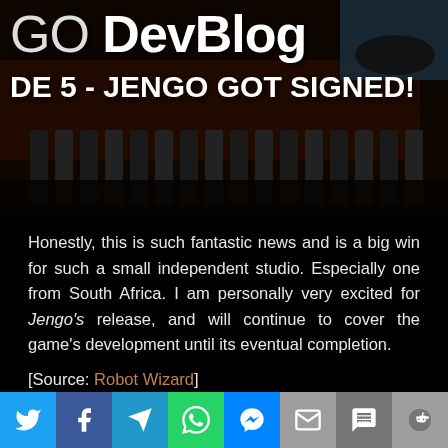[Figure (screenshot): Game header image showing 'GO DevBlog' title and 'DE 5 - JENGO GOT SIGNED!' subtitle over a dark background with piano keys and sneakers]
Honestly, this is such fantastic news and is a big win for such a small independent studio. Especially one from South Africa. I am personally very excited for Jengo's release, and will continue to cover the game's development until its eventual completion.
[Source: Robot Wizard]